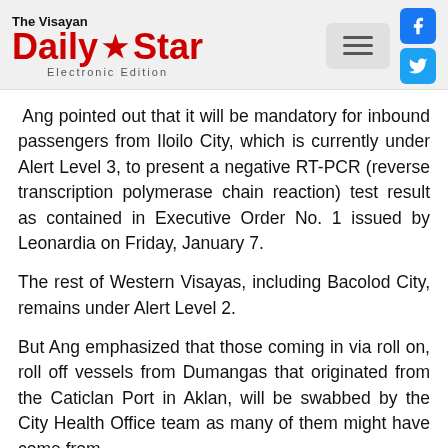The Visayan Daily Star Electronic Edition
Ang pointed out that it will be mandatory for inbound passengers from Iloilo City, which is currently under Alert Level 3, to present a negative RT-PCR (reverse transcription polymerase chain reaction) test result as contained in Executive Order No. 1 issued by Leonardia on Friday, January 7.
The rest of Western Visayas, including Bacolod City, remains under Alert Level 2.
But Ang emphasized that those coming in via roll on, roll off vessels from Dumangas that originated from the Caticlan Port in Aklan, will be swabbed by the City Health Office team as many of them might have come from